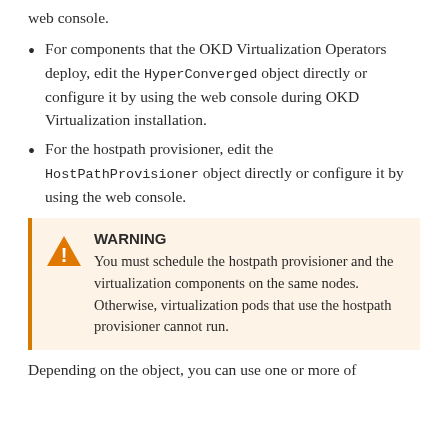web console.
For components that the OKD Virtualization Operators deploy, edit the HyperConverged object directly or configure it by using the web console during OKD Virtualization installation.
For the hostpath provisioner, edit the HostPathProvisioner object directly or configure it by using the web console.
WARNING
You must schedule the hostpath provisioner and the virtualization components on the same nodes. Otherwise, virtualization pods that use the hostpath provisioner cannot run.
Depending on the object, you can use one or more of